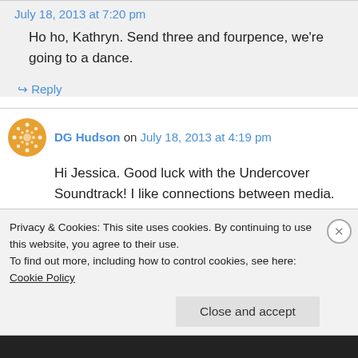July 18, 2013 at 7:20 pm
Ho ho, Kathryn. Send three and fourpence, we're going to a dance.
↪ Reply
DG Hudson on July 18, 2013 at 4:19 pm
Hi Jessica. Good luck with the Undercover Soundtrack! I like connections between media. Music that influences writers or books that make
Privacy & Cookies: This site uses cookies. By continuing to use this website, you agree to their use.
To find out more, including how to control cookies, see here: Cookie Policy
Close and accept